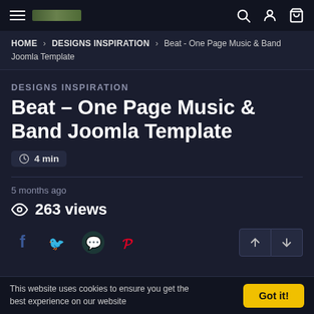Navigation bar with hamburger menu, logo, search, user, and cart icons
HOME > DESIGNS INSPIRATION > Beat - One Page Music & Band Joomla Template
DESIGNS INSPIRATION
Beat - One Page Music & Band Joomla Template
4 min
5 months ago
263 views
Social share icons: Facebook, Twitter, WhatsApp, Pinterest
This website uses cookies to ensure you get the best experience on our website
Got it!